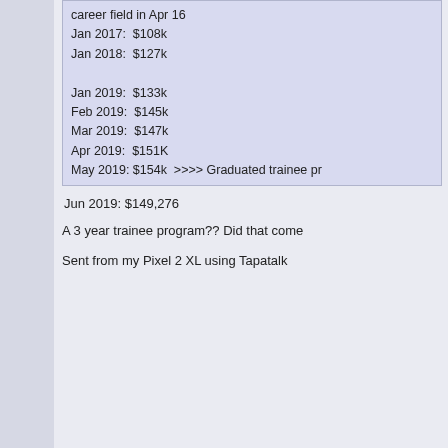career field in Apr 16
Jan 2017: $108k
Jan 2018: $127k

Jan 2019: $133k
Feb 2019: $145k
Mar 2019: $147k
Apr 2019: $151K
May 2019: $154k  >>>> Graduated trainee pr
Jun 2019: $149,276
A 3 year trainee program?? Did that come
Sent from my Pixel 2 XL using Tapatalk
repman
5 O'Clock Shadow
Posts: 34
Re: Race from 100 to 250k
« Reply #2434 on: June 04, 2019, 01:09: »
Nov 2017    65,000€
Dez 2017    69,000€  a frugal month and

Jan  2018    73,100€